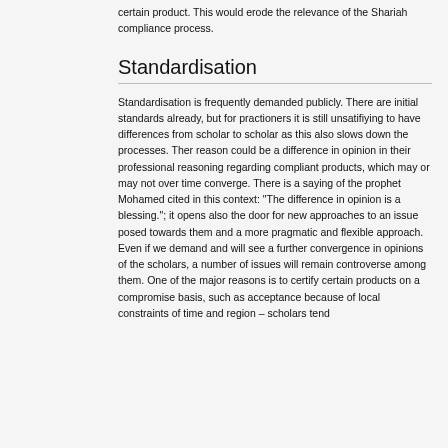certain product. This would erode the relevance of the Shariah compliance process.
Standardisation
Standardisation is frequently demanded publicly. There are initial standards already, but for practioners it is still unsatifiying to have differences from scholar to scholar as this also slows down the processes. Ther reason could be a difference in opinion in their professional reasoning regarding compliant products, which may or may not over time converge. There is a saying of the prophet Mohamed cited in this context: "The difference in opinion is a blessing."; it opens also the door for new approaches to an issue posed towards them and a more pragmatic and flexible approach. Even if we demand and will see a further convergence in opinions of the scholars, a number of issues will remain controverse among them. One of the major reasons is to certify certain products on a compromise basis, such as acceptance because of local constraints of time and region – scholars tend